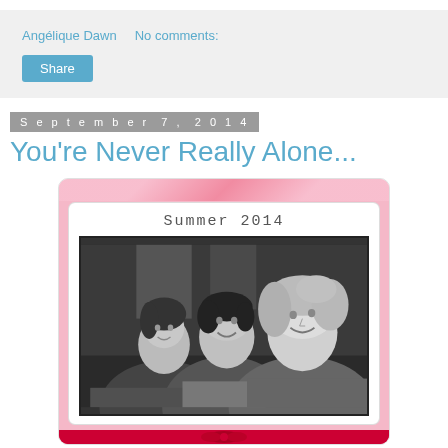Angélique Dawn    No comments:
Share
September 7, 2014
You're Never Really Alone...
[Figure (photo): A decorative scrapbook-style frame with pink floral border, titled 'Summer 2014', containing a black-and-white photo of three women/girls smiling together, with a red ribbon/bow at the bottom.]